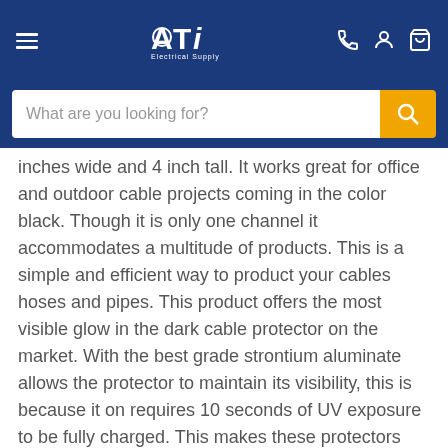ATi Electrical Supply — navigation header with hamburger menu, logo, phone, account, and cart icons
What are you looking for?
inches wide and 4 inch tall. It works great for office and outdoor cable projects coming in the color black. Though it is only one channel it accommodates a multitude of products. This is a simple and efficient way to product your cables hoses and pipes. This product offers the most visible glow in the dark cable protector on the market. With the best grade strontium aluminate allows the protector to maintain its visibility, this is because it on requires 10 seconds of UV exposure to be fully charged. This makes these protectors excellent for dark conditions.
Made of solid cast polyurethane based constructs this makes this product a must have. Natural and man-made elements our products hold up against them all and comply with all safety